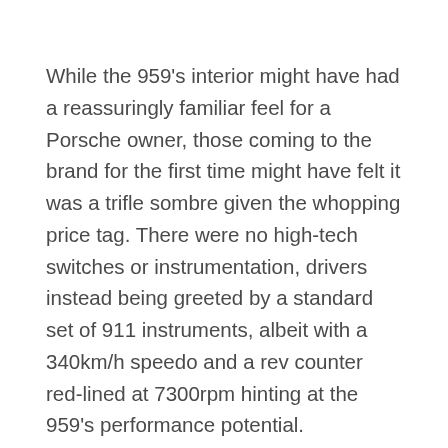While the 959's interior might have had a reassuringly familiar feel for a Porsche owner, those coming to the brand for the first time might have felt it was a trifle sombre given the whopping price tag. There were no high-tech switches or instrumentation, drivers instead being greeted by a standard set of 911 instruments, albeit with a 340km/h speedo and a rev counter red-lined at 7300rpm hinting at the 959's performance potential.
And while the 959's interior might have been a little